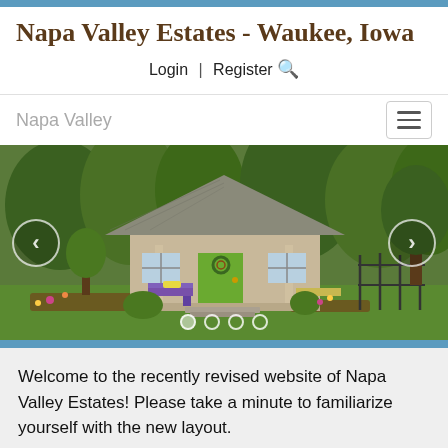Napa Valley Estates - Waukee, Iowa
Login  |  Register 🔍
Napa Valley
[Figure (photo): Slideshow of a small charming cottage with green door, purple bench, surrounded by lush green trees. Navigation arrows on left and right, dot indicators at bottom.]
Welcome to the recently revised website of Napa Valley Estates!  Please take a minute to familiarize yourself with the new layout.